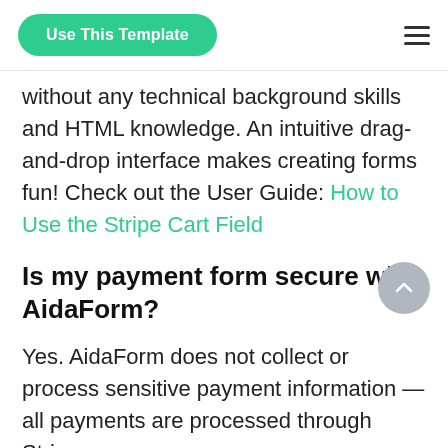Use This Template
without any technical background skills and HTML knowledge. An intuitive drag-and-drop interface makes creating forms fun! Check out the User Guide: How to Use the Stripe Cart Field
Is my payment form secure with AidaForm?
Yes. AidaForm does not collect or process sensitive payment information — all payments are processed through Stripe.